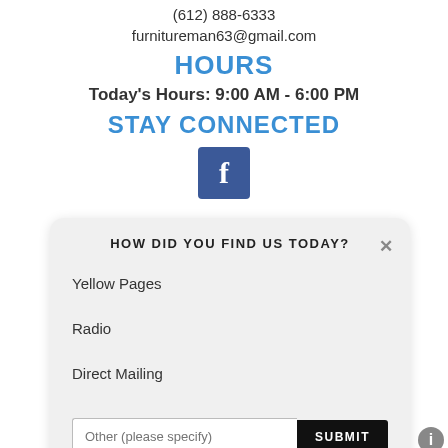(612) 866-6333
furnitureman63@gmail.com
HOURS
Today's Hours: 9:00 AM - 6:00 PM
STAY CONNECTED
[Figure (logo): Facebook logo icon - white letter f on blue square background]
HOW DID YOU FIND US TODAY?
Yellow Pages
Radio
Direct Mailing
Other (please specify)
SUBMIT